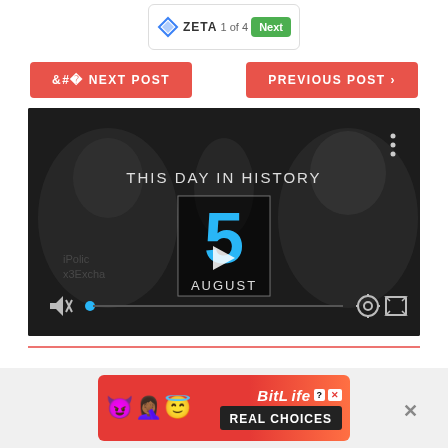[Figure (screenshot): Zeta ad unit showing logo, '1 of 4' pagination, and green Next button]
< NEXT POST
PREVIOUS POST >
[Figure (screenshot): Video player showing 'THIS DAY IN HISTORY' with large blue number 5 and AUGUST text, play button overlay, video controls including mute icon, progress bar, settings gear and fullscreen icons]
[Figure (screenshot): BitLife advertisement banner with devil and angel emoji characters and 'REAL CHOICES' text on red background, with close button X]